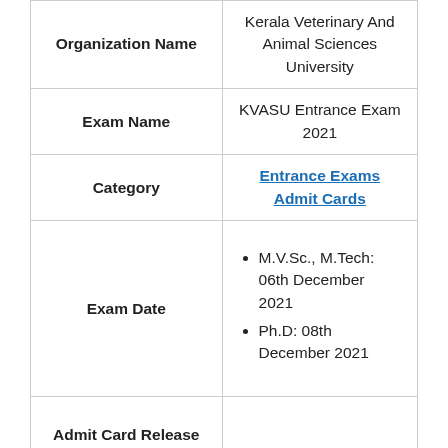|  |  |
| --- | --- |
| Organization Name | Kerala Veterinary And Animal Sciences University |
| Exam Name | KVASU Entrance Exam 2021 |
| Category | Entrance Exams Admit Cards |
| Exam Date | M.V.Sc., M.Tech: 06th December 2021 | Ph.D: 08th December 2021 |
| Admit Card Release | Released... |